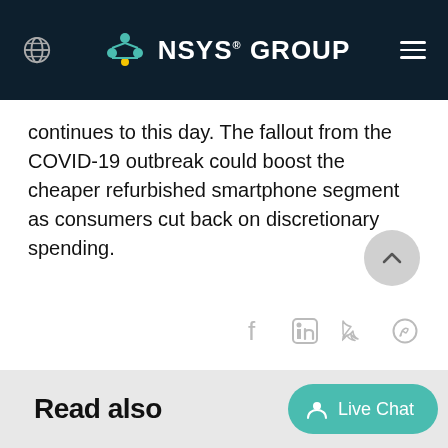NSYS GROUP
continues to this day. The fallout from the COVID-19 outbreak could boost the cheaper refurbished smartphone segment as consumers cut back on discretionary spending.
[Figure (other): Social share icons: Facebook, LinkedIn, Twitter, WhatsApp]
[Figure (other): Yellow 'Arrange a Demo' call-to-action button]
Read also
[Figure (other): Teal 'Live Chat' button with user icon]